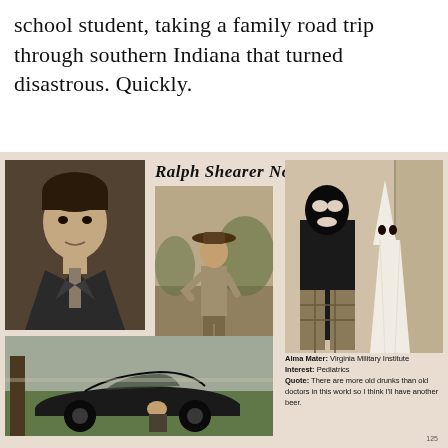school student, taking a family road trip through southern Indiana that turned disastrous. Quickly.
[Figure (photo): Yearbook page for Ralph Shearer Northam showing four photographs: a formal portrait, a man in a cowboy hat outdoors, two figures in racist costumes (blackface and KKK robe), and a man sitting next to a sports car. Includes alma mater, interest, and quote text.]